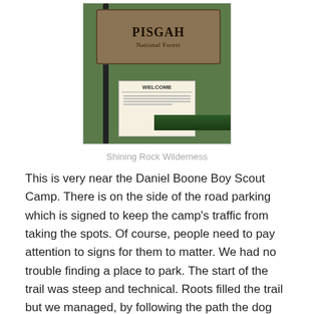[Figure (photo): A wooden Pisgah National Forest sign with a Welcome sign below it, surrounded by green foliage.]
Shining Rock Wilderness
This is very near the Daniel Boone Boy Scout Camp. There is on the side of the road parking which is signed to keep the camp’s traffic from taking the spots. Of course, people need to pay attention to signs for them to matter. We had no trouble finding a place to park. The start of the trail was steep and technical. Roots filled the trail but we managed, by following the path the dog took, to get going. This area is absolutely beautiful. I cannot really find words